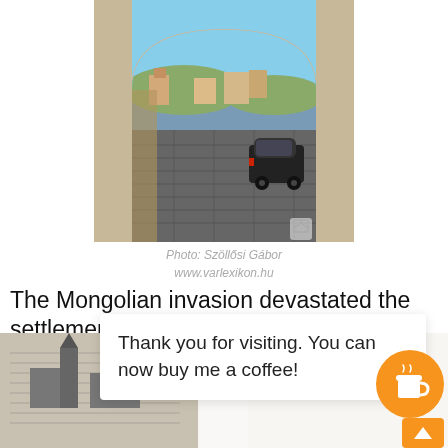[Figure (photo): View through a stone arch gateway looking down a cobblestone street with buildings and a parked car visible. Blue sky above. Photographer watermark icon in lower right of photo.]
Photo: Szöllősi Gábor
www.varlexikon.hu
The Mongolian invasion devastated the settlement in 1241. King Béla IV gave more privileges to the surviving inhabitants in 1244. The small town was allowed t
Thank you for visiting. You can now buy me a coffee!
[Figure (illustration): Partial historical illustration/engraving of a town visible at bottom of page.]